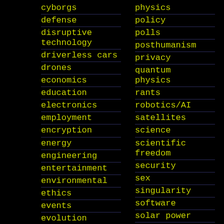cyborgs
defense
disruptive technology
driverless cars
drones
economics
education
electronics
employment
encryption
energy
engineering
entertainment
environmental
ethics
events
evolution
existential risks
physics
policy
polls
posthumanism
privacy
quantum physics
rants
robotics/AI
satellites
science
scientific freedom
security
sex
singularity
software
solar power
space